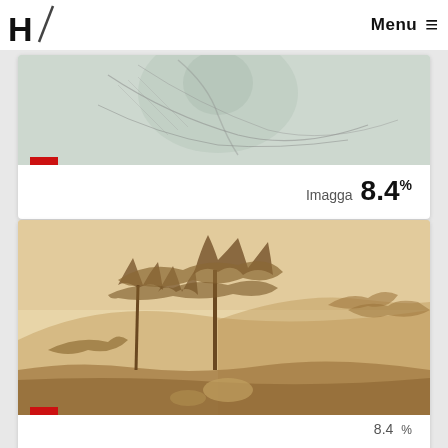H / Menu ≡
[Figure (illustration): Artwork/drawing with greenish-gray tones, appears to be a figure or portrait sketch]
Imagga  8.4%
[Figure (illustration): Sepia-toned landscape painting/drawing with trees and natural scenery]
8.4%